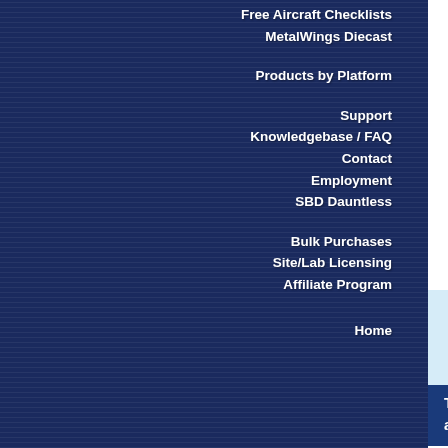Free Aircraft Checklists
MetalWings Diecast
Products by Platform
Support
Knowledgebase / FAQ
Contact
Employment
SBD Dauntless
Bulk Purchases
Site/Lab Licensing
Affiliate Program
Home
Heat energy that is added to a refrigerant a…
A gas balloon term, superheat occurs when… resulting in expansion of the gas.
The clearest, most detailed and free lifetime updates.
[Figure (photo): Young man in business attire smiling, with a graphic illustration of an airplane and diagrams in the background]